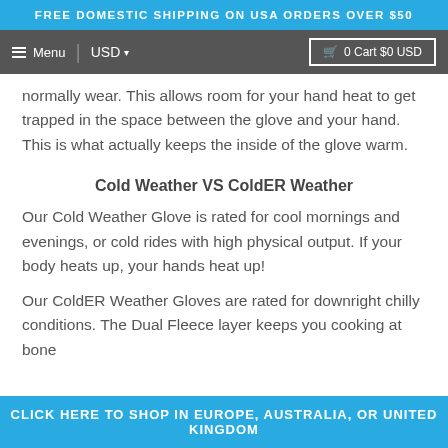FREE DOMESTIC SHIPPING ON USA ORDERS OVER $50
normally wear. This allows room for your hand heat to get trapped in the space between the glove and your hand. This is what actually keeps the inside of the glove warm.
Cold Weather VS ColdER Weather
Our Cold Weather Glove is rated for cool mornings and evenings, or cold rides with high physical output. If your body heats up, your hands heat up!
Our ColdER Weather Gloves are rated for downright chilly conditions. The Dual Fleece layer keeps you cooking at bone
CLICK HERE TO SHOP IN EUROPE, AUSTRALIA, OR UNITED KINGDOM